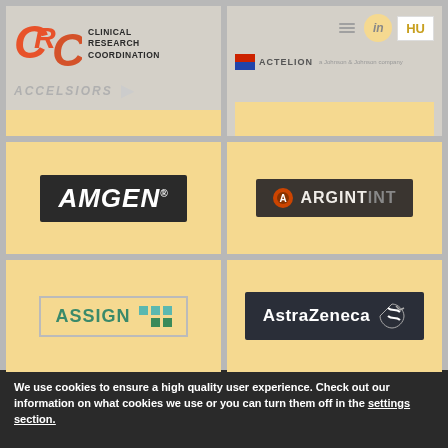[Figure (logo): CRC Clinical Research Coordination / Accelsiors logo]
[Figure (logo): Actelion logo with navigation icons, LinkedIn button, and HU language selector]
[Figure (logo): Amgen logo]
[Figure (logo): ArgintInt logo]
[Figure (logo): Assign logo with teal/green squares]
[Figure (logo): AstraZeneca logo]
We use cookies to ensure a high quality user experience. Check out our information on what cookies we use or you can turn them off in the settings section.